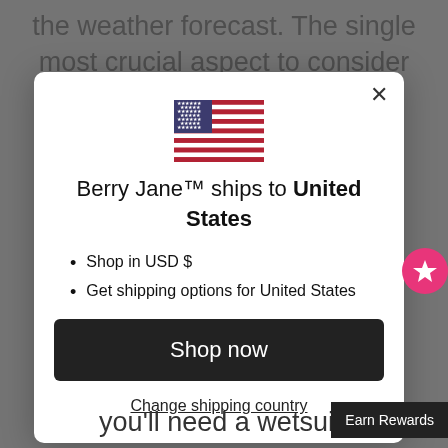the weather forecast. The single most crucial aspect to consider
[Figure (illustration): US flag emoji/icon]
Berry Jane™ ships to United States
Shop in USD $
Get shipping options for United States
Shop now
Change shipping country
you'll need a wetsuit.
Earn Rewards